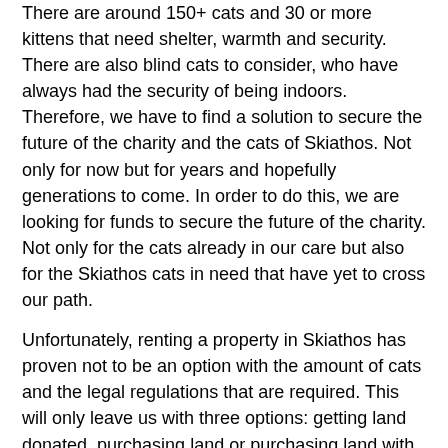There are around 150+ cats and 30 or more kittens that need shelter, warmth and security. There are also blind cats to consider, who have always had the security of being indoors. Therefore, we have to find a solution to secure the future of the charity and the cats of Skiathos. Not only for now but for years and hopefully generations to come. In order to do this, we are looking for funds to secure the future of the charity. Not only for the cats already in our care but also for the Skiathos cats in need that have yet to cross our path.
Unfortunately, renting a property in Skiathos has proven not to be an option with the amount of cats and the legal regulations that are required. This will only leave us with three options: getting land donated, purchasing land or purchasing land with suitable buildings (that conform to Greek law so that it can get the official recognition as a shelter)
However, HUGE funds are needed to secure the future of the charity.
We currently have 3 options